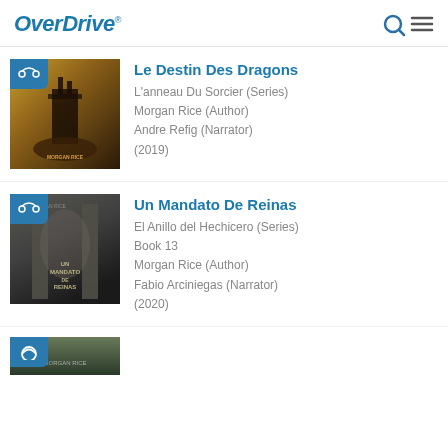OverDrive
[Figure (illustration): Book cover for Le Destin Des Dragons - dark castle on rocky cliff with golden-brown tones, headphone audio badge in top left]
Le Destin Des Dragons
L'anneau Du Sorcier (Series)
Morgan Rice (Author)
Andre Refig (Narrator)
(2019)
[Figure (illustration): Book cover for Un Mandato De Reinas - dark atmospheric fantasy scene with pillars, headphone audio badge in top left]
Un Mandato De Reinas
El Anillo del Hechicero (Series)
Book 13
Morgan Rice (Author)
Fabio Arciniegas (Narrator)
(2020)
[Figure (illustration): Partial book cover visible at bottom of page - dark green tones, audio badge visible]